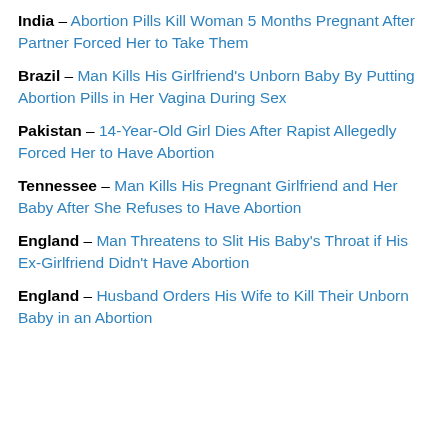India – Abortion Pills Kill Woman 5 Months Pregnant After Partner Forced Her to Take Them
Brazil – Man Kills His Girlfriend's Unborn Baby By Putting Abortion Pills in Her Vagina During Sex
Pakistan – 14-Year-Old Girl Dies After Rapist Allegedly Forced Her to Have Abortion
Tennessee – Man Kills His Pregnant Girlfriend and Her Baby After She Refuses to Have Abortion
England – Man Threatens to Slit His Baby's Throat if His Ex-Girlfriend Didn't Have Abortion
England – Husband Orders His Wife to Kill Their Unborn Baby in an Abortion